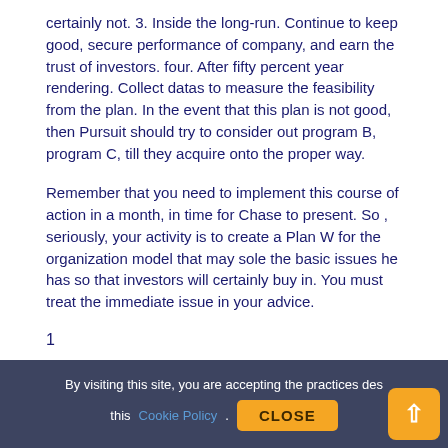certainly not. 3. Inside the long-run. Continue to keep good, secure performance of company, and earn the trust of investors. four. After fifty percent year rendering. Collect datas to measure the feasibility from the plan. In the event that this plan is not good, then Pursuit should try to consider out program B, program C, till they acquire onto the proper way.
Remember that you need to implement this course of action in a month, in time for Chase to present. So , seriously, your activity is to create a Plan W for the organization model that may sole the basic issues he has so that investors will certainly buy in. You must treat the immediate issue in your advice.
1
Tweet
Pin it
By visiting this site, you are accepting the practices des this Cookie Policy. CLOSE